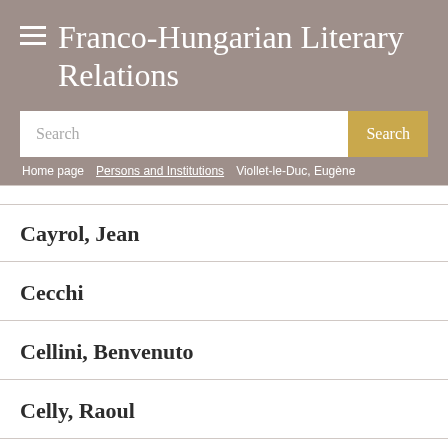≡ Franco-Hungarian Literary Relations
Search
Home page / Persons and Institutions / Viollet-le-Duc, Eugène
Cayrol, Jean
Cecchi
Cellini, Benvenuto
Celly, Raoul